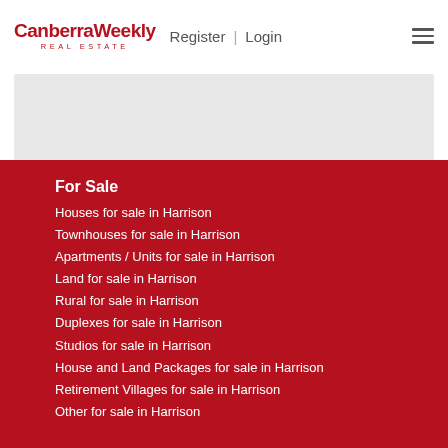[Figure (logo): Canberra Weekly Real Estate logo in red]
Register | Login
[Figure (other): Gray banner/advertisement area]
For Sale
Houses for sale in Harrison
Townhouses for sale in Harrison
Apartments / Units for sale in Harrison
Land for sale in Harrison
Rural for sale in Harrison
Duplexes for sale in Harrison
Studios for sale in Harrison
House and Land Packages for sale in Harrison
Retirement Villages for sale in Harrison
Other for sale in Harrison